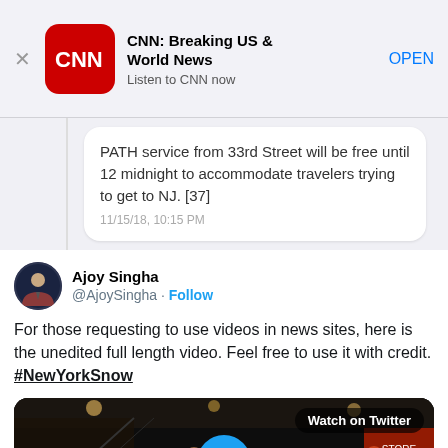[Figure (screenshot): App store ad banner for CNN: Breaking US & World News app with CNN logo, title, subtitle 'Listen to CNN now', and OPEN button]
PATH service from 33rd Street will be free until 12 midnight to accommodate travelers trying to get to NJ. [37]
11/15/18, 10:15 PM
Ajoy Singha @AjoySingha · Follow
For those requesting to use videos in news sites, here is the unedited full length video. Feel free to use it with credit. #NewYorkSnow
[Figure (screenshot): Video thumbnail showing Watch on Twitter badge and play button over a crowd scene, likely subway/train station]